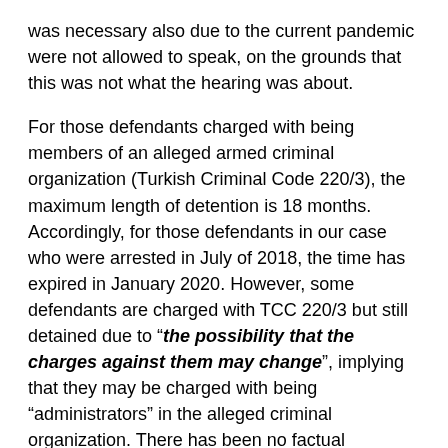was necessary also due to the current pandemic were not allowed to speak, on the grounds that this was not what the hearing was about.
For those defendants charged with being members of an alleged armed criminal organization (Turkish Criminal Code 220/3), the maximum length of detention is 18 months. Accordingly, for those defendants in our case who were arrested in July of 2018, the time has expired in January 2020. However, some defendants are charged with TCC 220/3 but still detained due to "the possibility that the charges against them may change", implying that they may be charged with being "administrators" in the alleged criminal organization. There has been no factual evidence that has been presented to the court for such allegations. No allegation exists that these defendants have given orders to or administered anyone. Therefore, contrary to the reasoning of the court, there is no